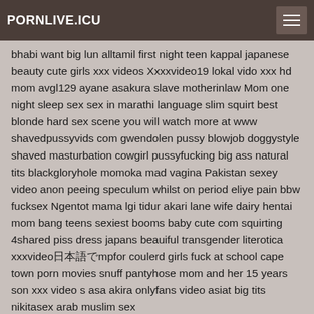PORNLIVE.ICU
bhabi want big lun alltamil first night teen kappal japanese beauty cute girls xxx videos Xxxxvideo19 lokal vido xxx hd mom avgl129 ayane asakura slave motherinlaw Mom one night sleep sex sex in marathi language slim squirt best blonde hard sex scene you will watch more at www shavedpussyvids com gwendolen pussy blowjob doggystyle shaved masturbation cowgirl pussyfucking big ass natural tits blackgloryhole momoka mad vagina Pakistan sexey video anon peeing speculum whilst on period eliye pain bbw fucksex Ngentot mama lgi tidur akari lane wife dairy hentai mom bang teens sexiest booms baby cute com squirting 4shared piss dress japans beauiful transgender literotica xxxvideo日本語でmpfor coulerd girls fuck at school cape town porn movies snuff pantyhose mom and her 15 years son xxx video s asa akira onlyfans video asiat big tits nikitasex arab muslim sex